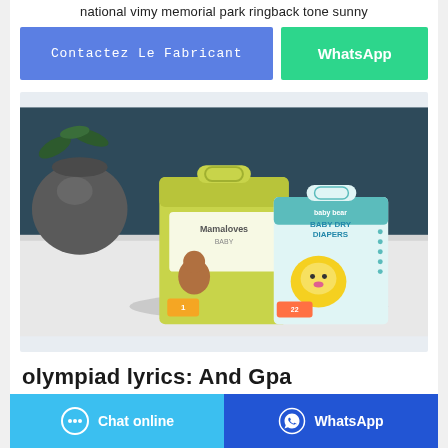national vimy memorial park ringback tone sunny
Contactez Le Fabricant
WhatsApp
[Figure (photo): Product photo of two baby diaper boxes (Mamaloves and Baby Bear Baby Dry Diapers) on a white surface with a dark spherical vase and blue wall background.]
olympiad lyrics: And Gpa
Chat online
WhatsApp